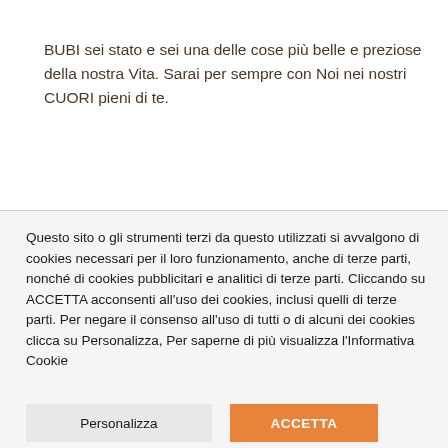BUBI sei stato e sei una delle cose più belle e preziose della nostra Vita. Sarai per sempre con Noi nei nostri CUORI pieni di te.
Questo sito o gli strumenti terzi da questo utilizzati si avvalgono di cookies necessari per il loro funzionamento, anche di terze parti, nonché di cookies pubblicitari e analitici di terze parti. Cliccando su ACCETTA acconsenti all'uso dei cookies, inclusi quelli di terze parti. Per negare il consenso all'uso di tutti o di alcuni dei cookies clicca su Personalizza, Per saperne di più visualizza l'Informativa Cookie
Personalizza
ACCETTA